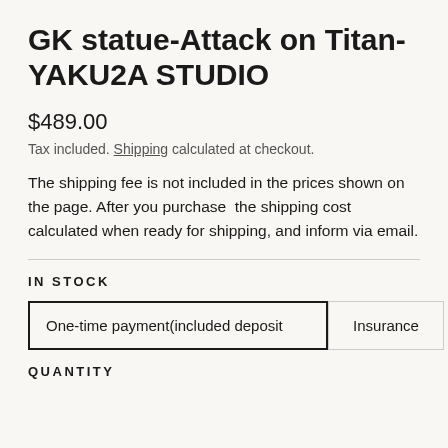GK statue-Attack on Titan-YAKU2A STUDIO
$489.00
Tax included. Shipping calculated at checkout.
The shipping fee is not included in the prices shown on the page. After you purchase  the shipping cost calculated when ready for shipping, and inform via email.
IN STOCK
One-time payment(included deposit
Insurance
QUANTITY